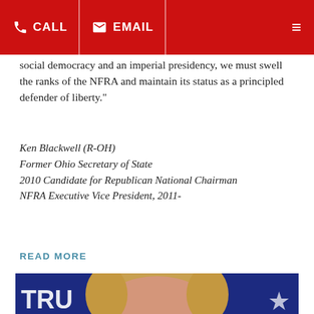CALL | EMAIL
social democracy and an imperial presidency, we must swell the ranks of the NFRA and maintain its status as a principled defender of liberty.”
Ken Blackwell (R-OH)
Former Ohio Secretary of State
2010 Candidate for Republican National Chairman
NFRA Executive Vice President, 2011-
READ MORE
[Figure (photo): Portrait photo of a blonde woman at what appears to be a TRUMP event, with blue background and partial star/text visible]